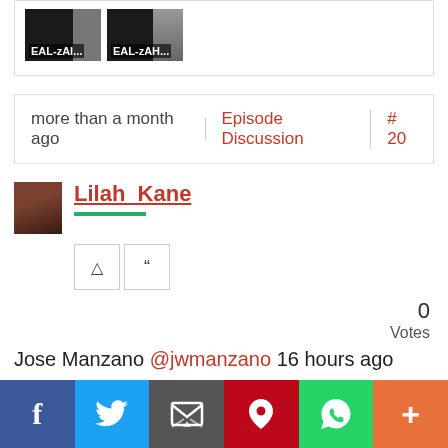[Figure (screenshot): Two video thumbnails with dark backgrounds. First labeled 'EAL-zAI...' and second 'EAL-zAH...' with a person visible on the right side of the second thumbnail.]
more than a month ago | Episode Discussion | # 20
Lilah_Kane
Jose Manzano @jwmanzano 16 hours ago
Crane day!
0
Votes
f  Twitter  Email  Pinterest  WhatsApp  +